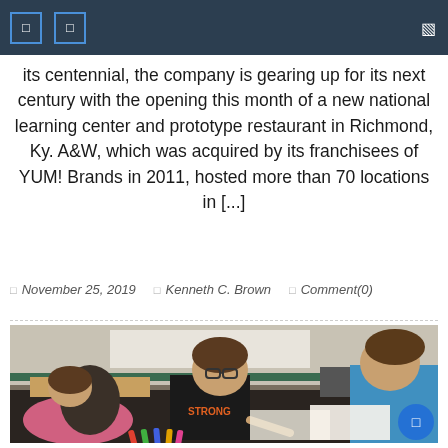Navigation bar with icons
its centennial, the company is gearing up for its next century with the opening this month of a new national learning center and prototype restaurant in Richmond, Ky. A&W, which was acquired by its franchisees of YUM! Brands in 2011, hosted more than 70 locations in [...]
November 25, 2019 · Kenneth C. Brown · Comment(0)
[Figure (photo): Students sitting at a table in a classroom working on papers with colorful markers, a purple water bottle visible in the background, classroom setting with block walls]